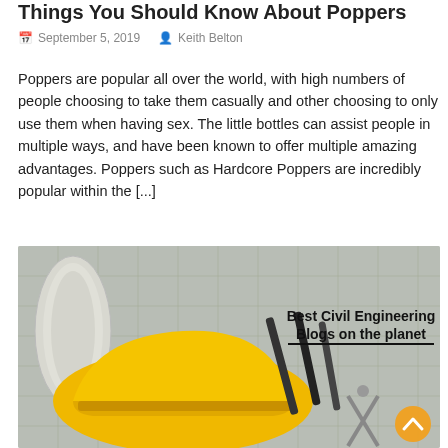Things You Should Know About Poppers
September 5, 2019   Keith Belton
Poppers are popular all over the world, with high numbers of people choosing to take them casually and other choosing to only use them when having sex. The little bottles can assist people in multiple ways, and have been known to offer multiple amazing advantages. Poppers such as Hardcore Poppers are incredibly popular within the [...]
[Figure (photo): Photo of a yellow hard hat on blueprint drawings with engineering tools, overlaid with text 'Best Civil Engineering Blogs on the planet']